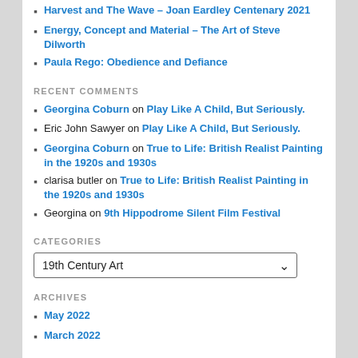Harvest and The Wave – Joan Eardley Centenary 2021
Energy, Concept and Material – The Art of Steve Dilworth
Paula Rego: Obedience and Defiance
RECENT COMMENTS
Georgina Coburn on Play Like A Child, But Seriously.
Eric John Sawyer on Play Like A Child, But Seriously.
Georgina Coburn on True to Life: British Realist Painting in the 1920s and 1930s
clarisa butler on True to Life: British Realist Painting in the 1920s and 1930s
Georgina on 9th Hippodrome Silent Film Festival
CATEGORIES
19th Century Art (dropdown)
ARCHIVES
May 2022
March 2022